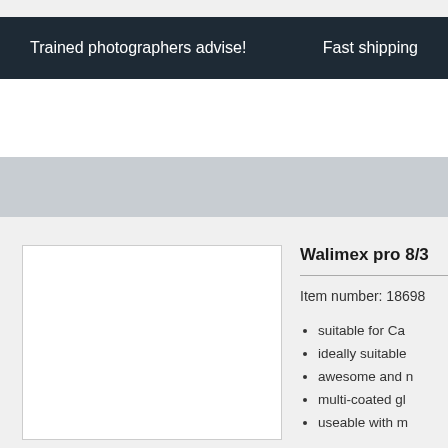Trained photographers advise!    Fast shipping
Walimex pro 8/3
Item number: 18698
suitable for Ca
ideally suitable
awesome and n
multi-coated gl
useable with m